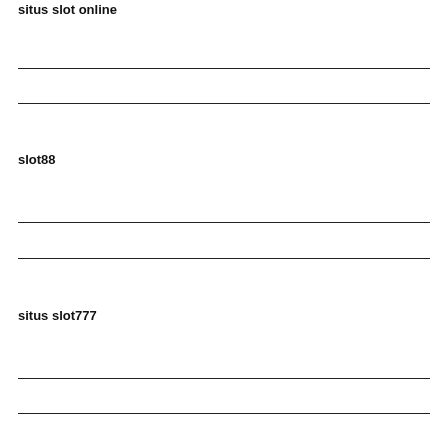situs slot online
slot88
situs slot777